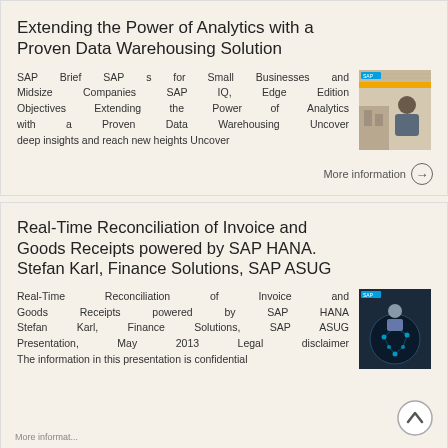Extending the Power of Analytics with a Proven Data Warehousing Solution
SAP Brief SAP s for Small Businesses and Midsize Companies SAP IQ, Edge Edition Objectives Extending the Power of Analytics with a Proven Data Warehousing Uncover deep insights and reach new heights Uncover
[Figure (photo): Cover image of SAP IQ Edge Edition brochure showing a person in a business setting]
Real-Time Reconciliation of Invoice and Goods Receipts powered by SAP HANA. Stefan Karl, Finance Solutions, SAP ASUG
Real-Time Reconciliation of Invoice and Goods Receipts powered by SAP HANA Stefan Karl, Finance Solutions, SAP ASUG Presentation, May 2013 Legal disclaimer The information in this presentation is confidential
[Figure (photo): Cover image of Real-Time Reconciliation presentation showing digital/network imagery]